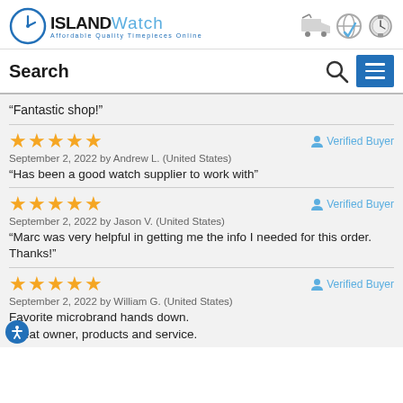ISLAND Watch - Affordable Quality Timepieces Online
Search
“Fantastic shop!”
★★★★★  Verified Buyer
September 2, 2022 by Andrew L. (United States)
“Has been a good watch supplier to work with”
★★★★★  Verified Buyer
September 2, 2022 by Jason V. (United States)
“Marc was very helpful in getting me the info I needed for this order. Thanks!”
★★★★★  Verified Buyer
September 2, 2022 by William G. (United States)
Favorite microbrand hands down.
Great owner, products and service.